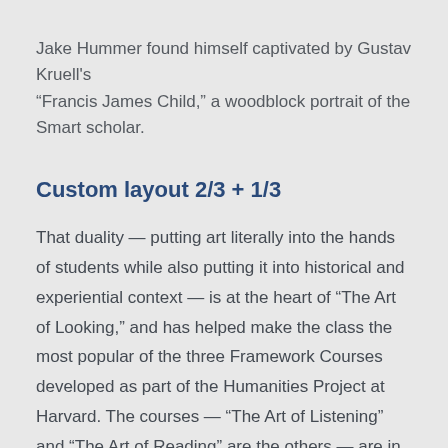Jake Hummer found himself captivated by Gustav Kruell’s “Francis James Child,” a woodblock portrait of the Smart scholar.
Custom layout 2/3 + 1/3
That duality — putting art literally into the hands of students while also putting it into historical and experiential context — is at the heart of “The Art of Looking,” and has helped make the class the most popular of the three Framework Courses developed as part of the Humanities Project at Harvard. The courses — “The Art of Listening” and “The Art of Reading” are the others — are in their fourth year.